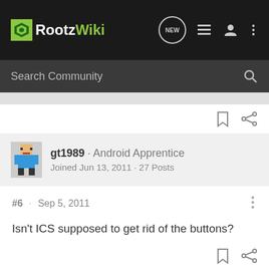RootzWiki
Search Community
gt1989 · Android Apprentice
Joined Jun 13, 2011 · 27 Posts
#6 · Sep 5, 2011
Isn't ICS supposed to get rid of the buttons?